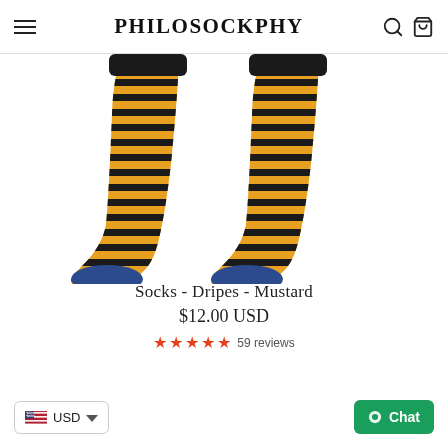PHILOSOCKPHY
[Figure (photo): Two mustard yellow socks with black horizontal stripes and navy blue toe caps, shown from the ankle down on a white background. The socks display the Philosockphy brand logo on the toe cap.]
Socks - Dripes - Mustard
$12.00 USD
59 reviews